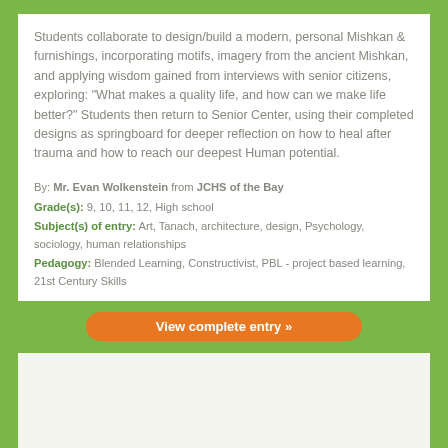Students collaborate to design/build a modern, personal Mishkan & furnishings, incorporating motifs, imagery from the ancient Mishkan, and applying wisdom gained from interviews with senior citizens, exploring: 'What makes a quality life, and how can we make life better?' Students then return to Senior Center, using their completed designs as springboard for deeper reflection on how to heal after trauma and how to reach our deepest Human potential.
By: Mr. Evan Wolkenstein from JCHS of the Bay
Grade(s): 9, 10, 11, 12, High school
Subject(s) of entry: Art, Tanach, architecture, design, Psychology, sociology, human relationships
Pedagogy: Blended Learning, Constructivist, PBL - project based learning, 21st Century Skills
View complete entry »